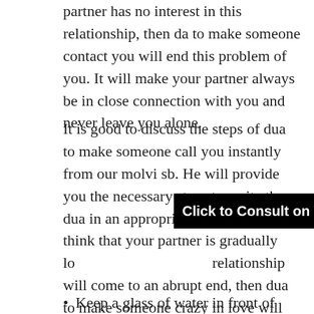partner has no interest in this relationship, then da to make someone contact you will end this problem of you. It will make your partner always be in close connection with you and never leave you alone.
It is good to discuss the steps of dua to make someone call you instantly from our molvi sb. He will provide you the necessary steps to recite the dua in an appropriate manner. If you think that your partner is gradually lo[Click to Consult on Whatsapp] relationship will come to an abrupt end, then dua to make someone crazy in love will revive your relation. It will make your partner love you deeply and intensely and never give up on you. It will make your relation stronger than before and create immense love in your lover's heart for you.
[Figure (other): Black banner overlay with white bold text: 'Click to Consult on Whatsapp']
Keep a glass of water in front of you while